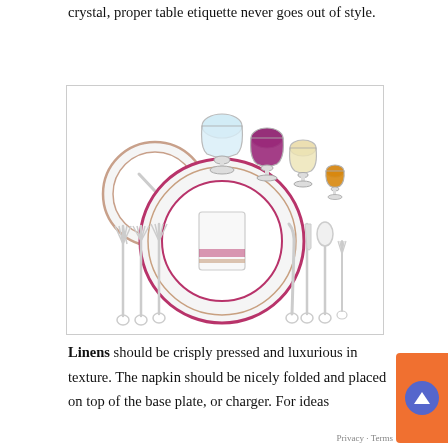crystal, proper table etiquette never goes out of style.
[Figure (illustration): A formal table place setting diagram showing a dinner plate with folded napkin, bread plate with butter knife, multiple forks on the left, knife and spoons on the right, and three glasses (water goblet, red wine, white wine) and a small cordial glass at the top right.]
Linens should be crisply pressed and luxurious in texture. The napkin should be nicely folded and placed on top of the base plate, or charger. For ideas